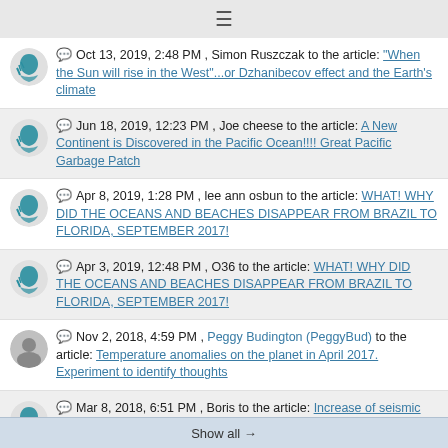≡
Oct 13, 2019, 2:48 PM , Simon Ruszczak to the article: "When the Sun will rise in the West"...or Dzhanibecov effect and the Earth's climate
Jun 18, 2019, 12:23 PM , Joe cheese to the article: A New Continent is Discovered in the Pacific Ocean!!!! Great Pacific Garbage Patch
Apr 8, 2019, 1:28 PM , lee ann osbun to the article: WHAT! WHY DID THE OCEANS AND BEACHES DISAPPEAR FROM BRAZIL TO FLORIDA, SEPTEMBER 2017!
Apr 3, 2019, 12:48 PM , O36 to the article: WHAT! WHY DID THE OCEANS AND BEACHES DISAPPEAR FROM BRAZIL TO FLORIDA, SEPTEMBER 2017!
Nov 2, 2018, 4:59 PM , Peggy Budington (PeggyBud) to the article: Temperature anomalies on the planet in April 2017. Experiment to identify thoughts
Mar 8, 2018, 6:51 PM , Boris to the article: Increase of seismic activity all over the world. What is coming next? Breaking news Episode #5
Show all →